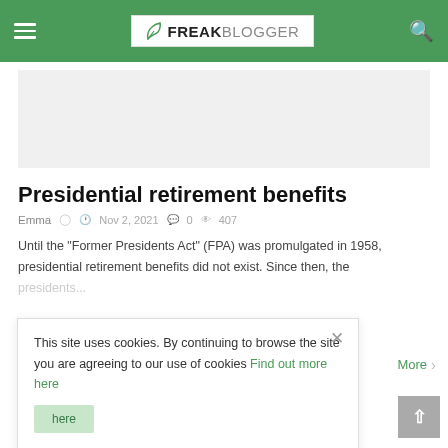FREAKBLOGGER
[Figure (other): Advertisement placeholder area, light gray background]
Presidential retirement benefits
Emma  Nov 2, 2021  0  407
Until the "Former Presidents Act" (FPA) was promulgated in 1958, presidential retirement benefits did not exist. Since then, the presidents...
This site uses cookies. By continuing to browse the site you are agreeing to our use of cookies Find out more here